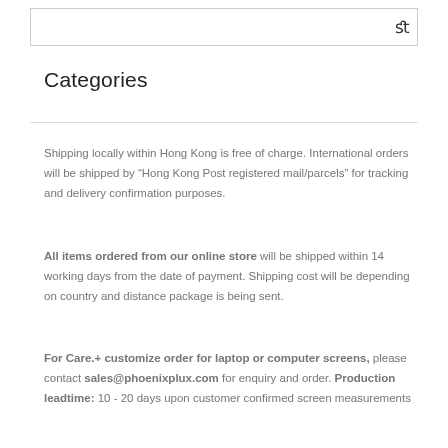[Figure (other): Search input box with search icon on the right]
Categories
Shipping locally within Hong Kong is free of charge. International orders will be shipped by “Hong Kong Post registered mail/parcels” for tracking and delivery confirmation purposes.
All items ordered from our online store will be shipped within 14 working days from the date of payment. Shipping cost will be depending on country and distance package is being sent.
For Care.+ customize order for laptop or computer screens, please contact sales@phoenixplux.com for enquiry and order. Production leadtime: 10 - 20 days upon customer confirmed screen measurements